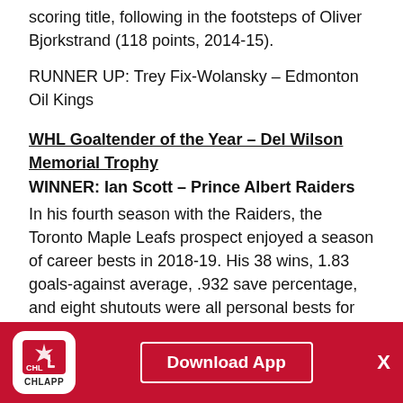scoring title, following in the footsteps of Oliver Bjorkstrand (118 points, 2014-15).
RUNNER UP: Trey Fix-Wolansky – Edmonton Oil Kings
WHL Goaltender of the Year – Del Wilson Memorial Trophy
WINNER: Ian Scott – Prince Albert Raiders
In his fourth season with the Raiders, the Toronto Maple Leafs prospect enjoyed a season of career bests in 2018-19. His 38 wins, 1.83 goals-against average, .932 save percentage, and eight shutouts were all personal bests for the Calgary, Alta. product. The 6-foot-3, 183-pound goaltender finished first in the WHL for shutouts while placing second in wins, GAA, and save percentage.
RUNNER UP: Dustin Wolf – Everett Silvertips
WHL Defenceman of the Year – Bill Hunter Memorial